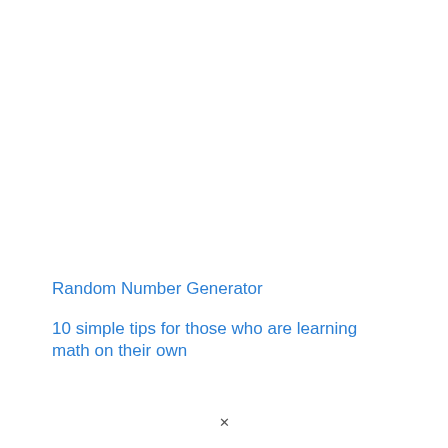Random Number Generator
10 simple tips for those who are learning math on their own